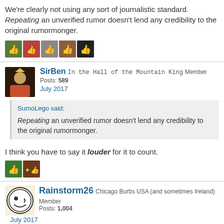We're clearly not using any sort of journalistic standard.  Repeating an unverified rumor doesn't lend any credibility to the original rumormonger.
[Figure (illustration): Row of 5 like/reaction avatar icons with thumbs up]
SirBen  In the Hall of the Mountain King  Member  Posts: 589  July 2017
SumoLego said: Repeating an unverified rumor doesn't lend any credibility to the original rumormonger.
I think you have to say it louder for it to count.
[Figure (illustration): Row of 2 like/reaction avatar icons with thumbs up]
Rainstorm26  Chicago Burbs USA (and sometimes Ireland)  Member  Posts: 1,004  July 2017
SirBen said: show previous quotes  I think you have to say it louder for it to count.